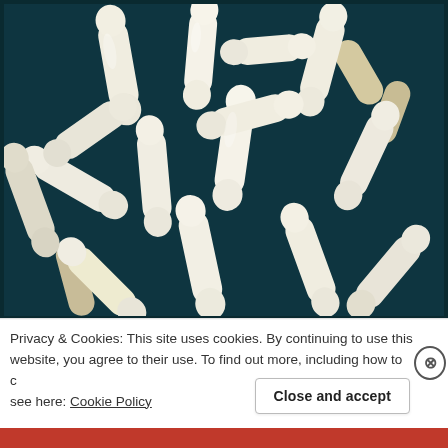[Figure (photo): Scanning electron microscope (SEM) image of rod-shaped bacteria (bacilli), appearing white/cream colored against a dark teal/blue background. The bacteria are cylindrical with rounded ends, densely packed and overlapping in various orientations.]
Privacy & Cookies: This site uses cookies. By continuing to use this website, you agree to their use. To find out more, including how to control cookies, see here: Cookie Policy